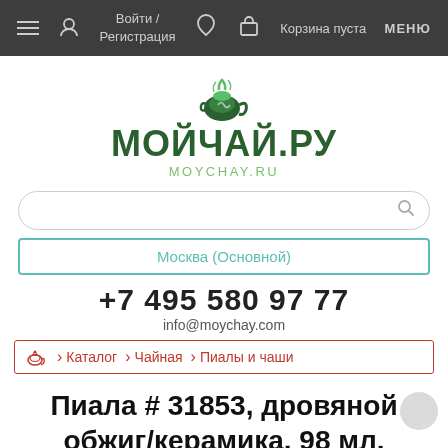Войти / Регистрация  Корзина пуста  МЕНЮ
[Figure (logo): МойЧай.ру logo with teapot icon, Cyrillic text МОЙЧАЙ.РУ and Latin MOYCHAY.RU]
Москва (Основной)
+7 495 580 97 77
info@moychay.com
Каталог  Чайная  Пиалы и чаши
Пиала # 31853, дровяной обжиг/керамика, 98 мл.